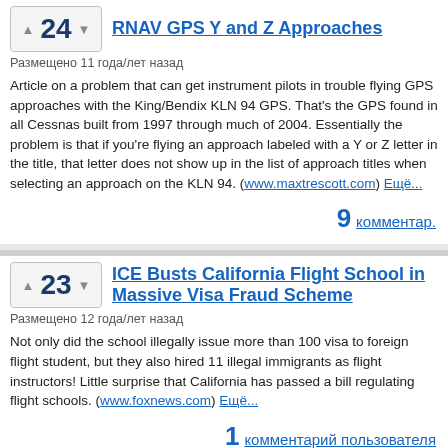RNAV GPS Y and Z Approaches
Размещено 11 года/лет назад
Article on a problem that can get instrument pilots in trouble flying GPS approaches with the King/Bendix KLN 94 GPS. That's the GPS found in all Cessnas built from 1997 through much of 2004. Essentially the problem is that if you're flying an approach labeled with a Y or Z letter in the title, that letter does not show up in the list of approach titles when selecting an approach on the KLN 94. (www.maxtrescott.com) Ещё...
9 комментар.
ICE Busts California Flight School in Massive Visa Fraud Scheme
Размещено 12 года/лет назад
Not only did the school illegally issue more than 100 visa to foreign flight student, but they also hired 11 illegal immigrants as flight instructors! Little surprise that California has passed a bill regulating flight schools. (www.foxnews.com) Ещё...
1 комментарий пользователя